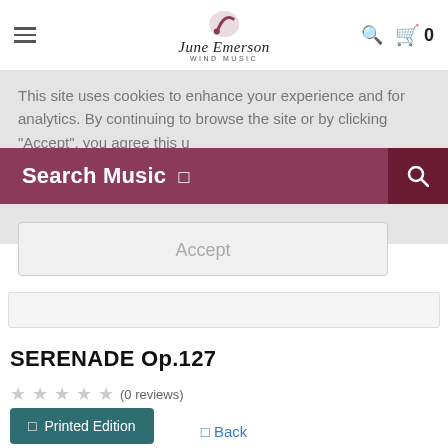June Emerson Wind Music — header navigation with hamburger menu, logo, search icon, cart icon (0)
This site uses cookies to enhance your experience and for analytics. By continuing to browse the site or by clicking "Accept", you agree this u...
Search Music □
Accept
SERENADE Op.127
★★★★★ (0 reviews)
□ Printed Edition
Composer: Giuliani, Giovanni Francesco (1760-
□ Back